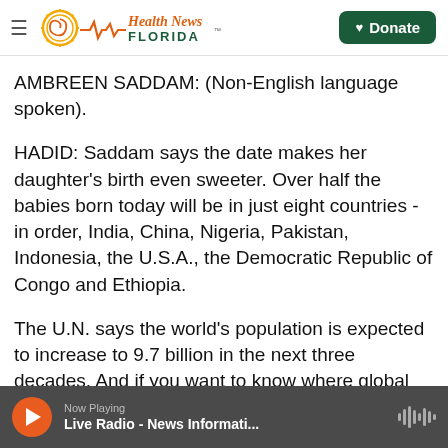Health News Florida — Donate
AMBREEN SADDAM: (Non-English language spoken).
HADID: Saddam says the date makes her daughter's birth even sweeter. Over half the babies born today will be in just eight countries - in order, India, China, Nigeria, Pakistan, Indonesia, the U.S.A., the Democratic Republic of Congo and Ethiopia.
The U.N. says the world's population is expected to increase to 9.7 billion in the next three decades. And if you want to know where global
Now Playing — Live Radio - News Informati...